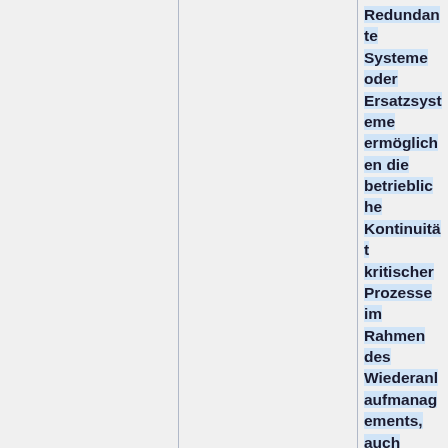Redundante Systeme oder Ersatzsysteme ermöglichen die betriebliche Kontinuität kritischer Prozesse im Rahmen des Wiederanlaufmanagements, auch wenn es zur Beeinträchtigung von Risikoelementen kommt. <ref>[http://www.bevoelkerungsschutz.admin.ch/internet/bs/de/home/themen/ski/leitfaden_parsysrela